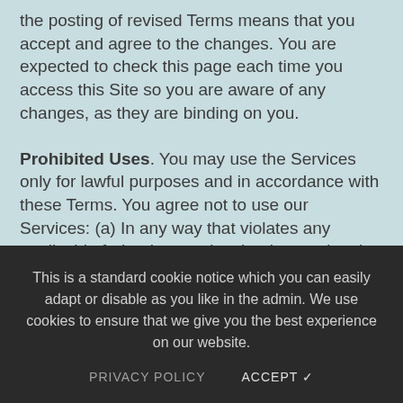the posting of revised Terms means that you accept and agree to the changes. You are expected to check this page each time you access this Site so you are aware of any changes, as they are binding on you.
Prohibited Uses. You may use the Services only for lawful purposes and in accordance with these Terms. You agree not to use our Services: (a) In any way that violates any applicable federal, state, local or international law or regulation (including, without limitation, any laws regarding the export of data or software to and from the US or other countries); (b) To impersonate or attempt to impersonate the JJCARE, a JJCARE employee, another user or any other person or entity (including, without limitation, by using any of the foregoing); (c) To engage in any other conduct that restricts or inhibits anyone's use or enjoyment of our Services, or which, as determined by us, may harm JJCARE or users of our Services or expose them to liability; (e) In any manner that could disable, overburden, damage, or
This is a standard cookie notice which you can easily adapt or disable as you like in the admin. We use cookies to ensure that we give you the best experience on our website.
PRIVACY POLICY     ACCEPT ✓